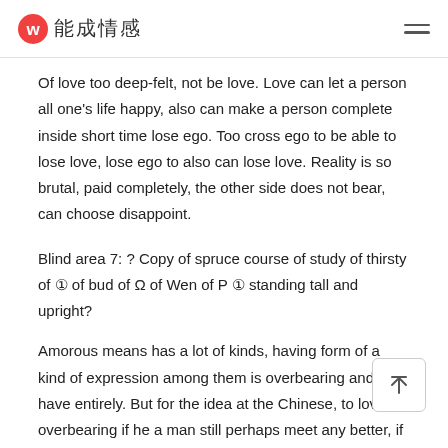能成情感
Of love too deep-felt, not be love. Love can let a person all one's life happy, also can make a person complete inside short time lose ego. Too cross ego to be able to lose love, lose ego to also can lose love. Reality is so brutal, paid completely, the other side does not bear, can choose disappoint.
Blind area 7: ? Copy of spruce course of study of thirsty of ① of bud of Ω of Wen of P ① standing tall and upright?
Amorous means has a lot of kinds, having form of a kind of expression among them is overbearing and have entirely. But for the idea at the Chinese, to love overbearing if he a man still perhaps meet any better, if